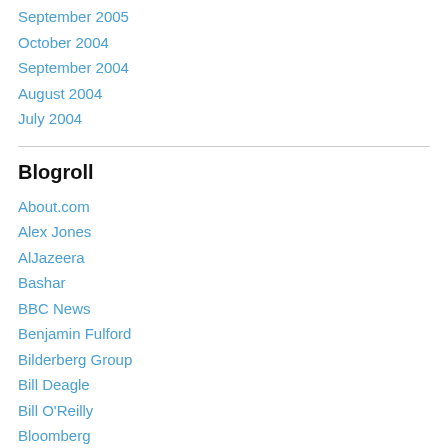September 2005
October 2004
September 2004
August 2004
July 2004
Blogroll
About.com
Alex Jones
AlJazeera
Bashar
BBC News
Benjamin Fulford
Bilderberg Group
Bill Deagle
Bill O'Reilly
Bloomberg
Bob Chapman